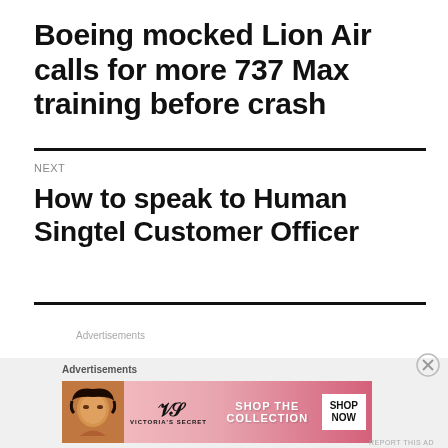Boeing mocked Lion Air calls for more 737 Max training before crash
NEXT
How to speak to Human Singtel Customer Officer
Advertisements
Advertisements
[Figure (other): Victoria's Secret advertisement banner with model, VS logo, 'SHOP THE COLLECTION' text and 'SHOP NOW' button]